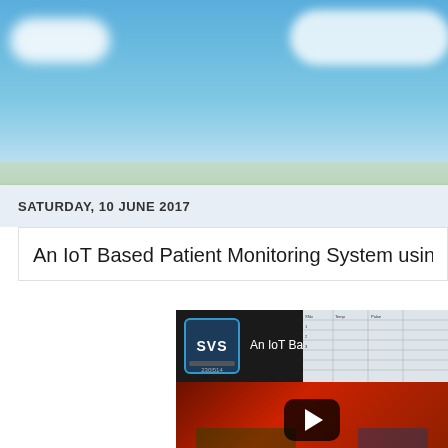[Figure (photo): Sky background with clouds and landscape strip]
SATURDAY, 10 JUNE 2017
An IoT Based Patient Monitoring System using Rasp...
[Figure (screenshot): YouTube video embed showing 'An IoT Based Patient...' with SVS channel icon, spreadsheet visible in background, play button overlay, and Raspberry Pi hardware setup below]